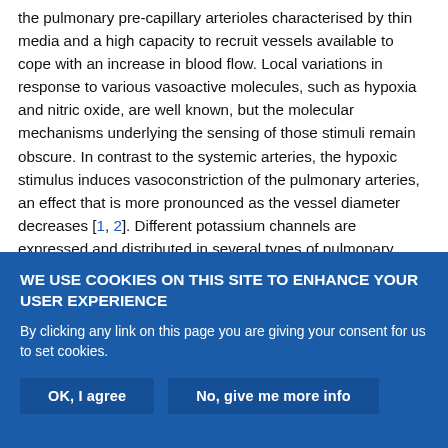the pulmonary pre-capillary arterioles characterised by thin media and a high capacity to recruit vessels available to cope with an increase in blood flow. Local variations in response to various vasoactive molecules, such as hypoxia and nitric oxide, are well known, but the molecular mechanisms underlying the sensing of those stimuli remain obscure. In contrast to the systemic arteries, the hypoxic stimulus induces vasoconstriction of the pulmonary arteries, an effect that is more pronounced as the vessel diameter decreases [1, 2]. Different potassium channels are expressed and distributed in several types of pulmonary arterial smooth muscle cells (PA-SMCs) and contribute to this large functional diversity. Although voltage-
WE USE COOKIES ON THIS SITE TO ENHANCE YOUR USER EXPERIENCE
By clicking any link on this page you are giving your consent for us to set cookies.